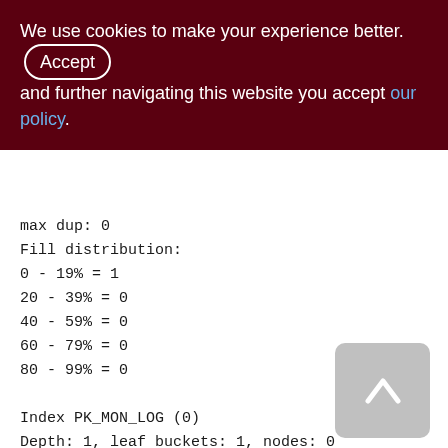We use cookies to make your experience better. By accepting and further navigating this website you accept our policy.
max dup: 0
Fill distribution:
0 - 19% = 1
20 - 39% = 0
40 - 59% = 0
60 - 79% = 0
80 - 99% = 0

Index PK_MON_LOG (0)
Depth: 1, leaf buckets: 1, nodes: 0
Average data length: 0.00, total dup: 0,
max dup: 0
Fill distribution: